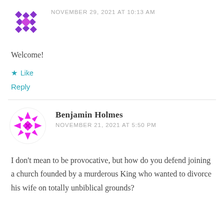[Figure (illustration): Purple geometric diamond/star pattern avatar icon]
NOVEMBER 29, 2021 AT 10:13 AM
Welcome!
★ Like
Reply
[Figure (illustration): Magenta/pink circular geometric star pattern avatar icon]
Benjamin Holmes
NOVEMBER 21, 2021 AT 5:50 PM
I don't mean to be provocative, but how do you defend joining a church founded by a murderous King who wanted to divorce his wife on totally unbiblical grounds?